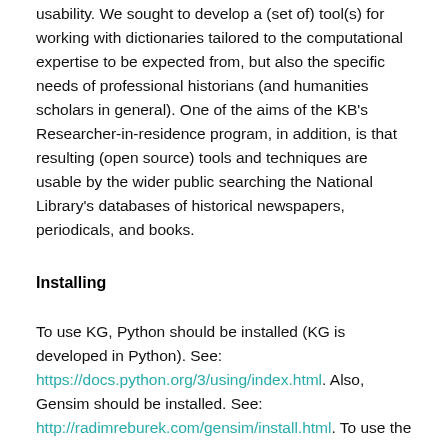usability. We sought to develop a (set of) tool(s) for working with dictionaries tailored to the computational expertise to be expected from, but also the specific needs of professional historians (and humanities scholars in general). One of the aims of the KB's Researcher-in-residence program, in addition, is that resulting (open source) tools and techniques are usable by the wider public searching the National Library's databases of historical newspapers, periodicals, and books.
Installing
To use KG, Python should be installed (KG is developed in Python). See: https://docs.python.org/3/using/index.html. Also, Gensim should be installed. See: http://radimreburek.com/gensim/install.html. To use the